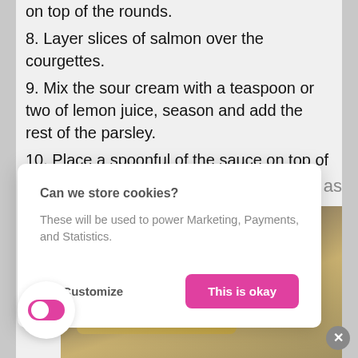on top of the rounds.
8. Layer slices of salmon over the courgettes.
9. Mix the sour cream with a teaspoon or two of lemon juice, season and add the rest of the parsley.
10. Place a spoonful of the sauce on top of the salmon.
e over as
[Figure (photo): Food photo showing salmon rounds with cream and toppings on a plate]
Can we store cookies?
These will be used to power Marketing, Payments, and Statistics.
No, Customize  This is okay